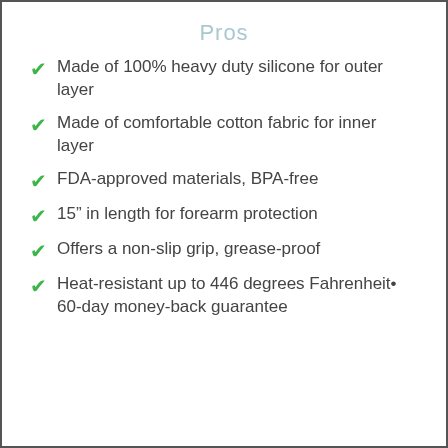Pros
Made of 100% heavy duty silicone for outer layer
Made of comfortable cotton fabric for inner layer
FDA-approved materials, BPA-free
15" in length for forearm protection
Offers a non-slip grip, grease-proof
Heat-resistant up to 446 degrees Fahrenheit• 60-day money-back guarantee